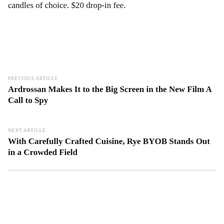candles of choice. $20 drop-in fee.
PREVIOUS ARTICLE
Ardrossan Makes It to the Big Screen in the New Film A Call to Spy
NEXT ARTICLE
With Carefully Crafted Cuisine, Rye BYOB Stands Out in a Crowded Field